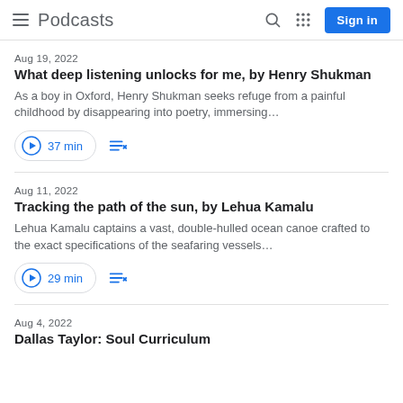≡ Podcasts  🔍  ⋮⋮⋮  Sign in
Aug 19, 2022
What deep listening unlocks for me, by Henry Shukman
As a boy in Oxford, Henry Shukman seeks refuge from a painful childhood by disappearing into poetry, immersing…
▶ 37 min  ≡+
Aug 11, 2022
Tracking the path of the sun, by Lehua Kamalu
Lehua Kamalu captains a vast, double-hulled ocean canoe crafted to the exact specifications of the seafaring vessels…
▶ 29 min  ≡+
Aug 4, 2022
Dallas Taylor: Soul Curriculum